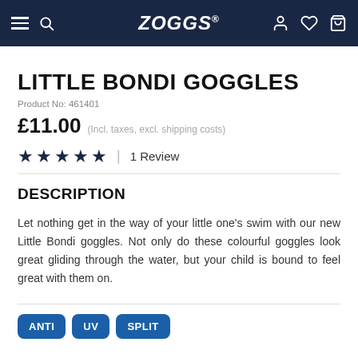ZOGGS navigation bar with hamburger, search, logo, account, wishlist, and cart icons
LITTLE BONDI GOGGLES
Product No: 461401
£11.00  (Incl. taxes, excl. shipping costs)
★★★★★ | 1 Review
DESCRIPTION
Let nothing get in the way of your little one's swim with our new Little Bondi goggles. Not only do these colourful goggles look great gliding through the water, but your child is bound to feel great with them on.
[Figure (other): Product feature badge labels: ANTI, UV, SPLIT]